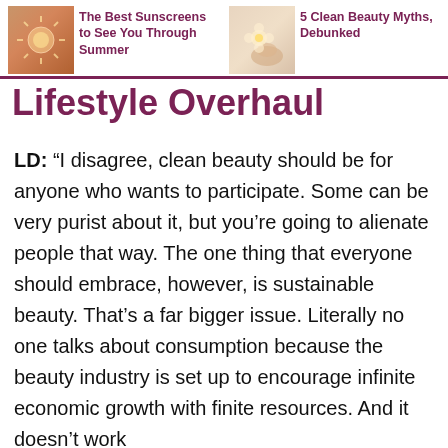The Best Sunscreens to See You Through Summer
5 Clean Beauty Myths, Debunked
Lifestyle Overhaul
LD: “I disagree, clean beauty should be for anyone who wants to participate. Some can be very purist about it, but you’re going to alienate people that way. The one thing that everyone should embrace, however, is sustainable beauty. That’s a far bigger issue. Literally no one talks about consumption because the beauty industry is set up to encourage infinite economic growth with finite resources. And it doesn’t work